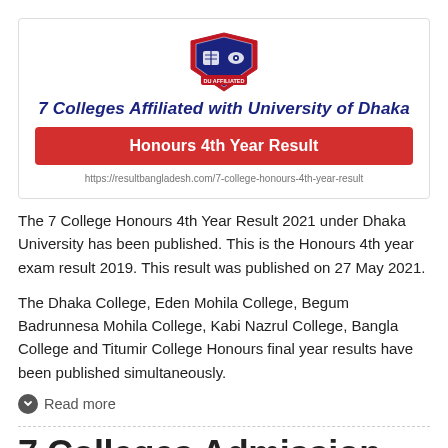[Figure (infographic): Card with university crest logo, title '7 Colleges Affiliated with University of Dhaka', red badge 'Honours 4th Year Result', and a URL below.]
The 7 College Honours 4th Year Result 2021 under Dhaka University has been published. This is the Honours 4th year exam result 2019. This result was published on 27 May 2021.
The Dhaka College, Eden Mohila College, Begum Badrunnesa Mohila College, Kabi Nazrul College, Bangla College and Titumir College Honours final year results have been published simultaneously.
Read more
7 Colleges Admission